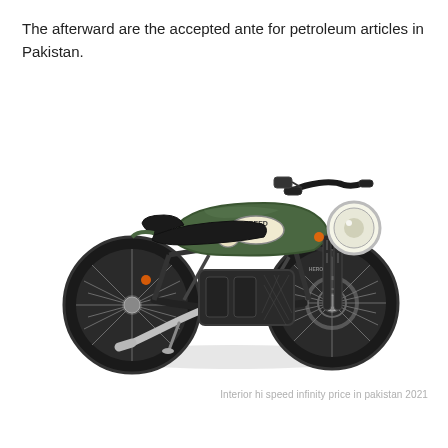The afterward are the accepted ante for petroleum articles in Pakistan.
[Figure (photo): A green cafe-racer style motorcycle (Hi Speed Infinity) with black seat, round headlight, spoke wheels, chrome exhaust pipe, and 'SPEED 91' badge on the fuel tank, photographed on a white background.]
Interior hi speed infinity price in pakistan 2021